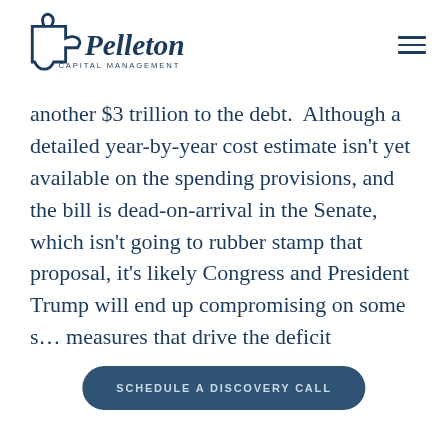[Figure (logo): Pelleton Capital Management logo with puzzle piece icon and serif text]
another $3 trillion to the debt.  Although a detailed year-by-year cost estimate isn't yet available on the spending provisions, and the bill is dead-on-arrival in the Senate, which isn't going to rubber stamp that proposal, it's likely Congress and President Trump will end up compromising on some s… measures that drive the deficit
SCHEDULE A DISCOVERY CALL